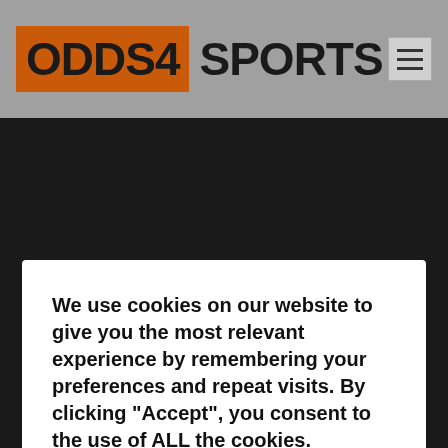ODDS4SPORTS
We use cookies on our website to give you the most relevant experience by remembering your preferences and repeat visits. By clicking “Accept”, you consent to the use of ALL the cookies.
Cookie settings
ACCEPT
Search here...